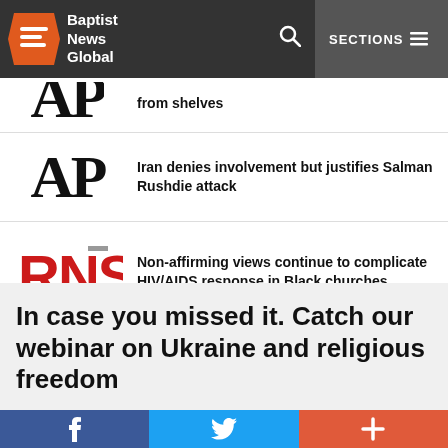Baptist News Global | SECTIONS
from shelves
Iran denies involvement but justifies Salman Rushdie attack
Non-affirming views continue to complicate HIV/AIDS response in Black churches
Sometimes dialogue is not the answer and neutrality is a trap: an interview with the authors of 'The Neutrality Trap'
In case you missed it. Catch our webinar on Ukraine and religious freedom
f  (twitter bird)  +